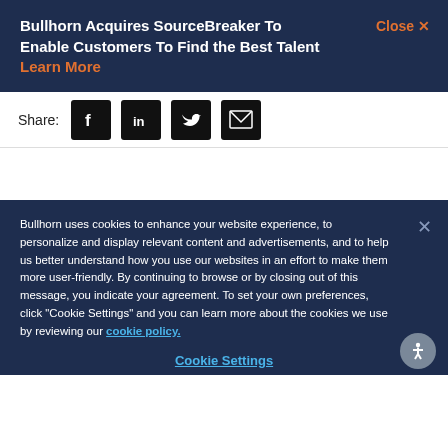Bullhorn Acquires SourceBreaker To Enable Customers To Find the Best Talent Learn More
Share:
[Figure (infographic): Social share icons: Facebook, LinkedIn, Twitter, Email]
Bullhorn uses cookies to enhance your website experience, to personalize and display relevant content and advertisements, and to help us better understand how you use our websites in an effort to make them more user-friendly. By continuing to browse or by closing out of this message, you indicate your agreement. To set your own preferences, click "Cookie Settings" and you can learn more about the cookies we use by reviewing our cookie policy.
Cookie Settings